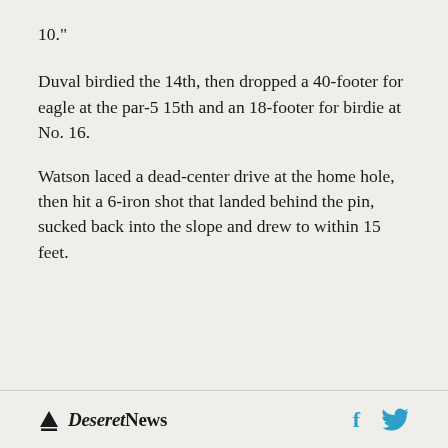10."
Duval birdied the 14th, then dropped a 40-footer for eagle at the par-5 15th and an 18-footer for birdie at No. 16.
Watson laced a dead-center drive at the home hole, then hit a 6-iron shot that landed behind the pin, sucked back into the slope and drew to within 15 feet.
Deseret News